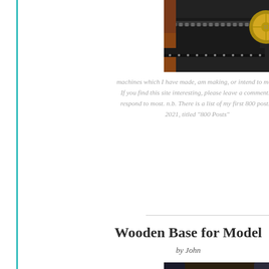[Figure (photo): Close-up photo of a mechanical machine with brass and metal components, gears, and rollers — partially cropped at the top of the page]
machines which I have made, am making, or intend to ma... If you find this site interesting, please leave a comment. I respond to most. n.b. There is a list of my first 800 post... 2021, titled "800 Posts"
Wooden Base for Model
by John
[Figure (photo): Photo of a wooden base/table surface — light wood piece on a darker wood surface, with black chairs and a door visible in the background]